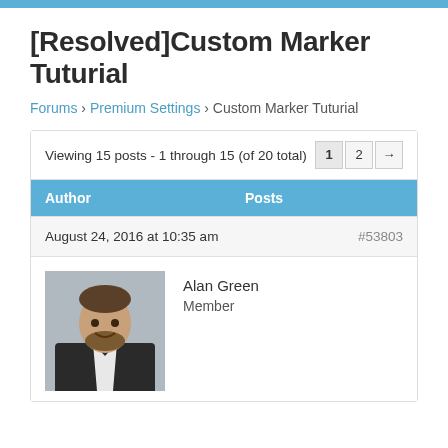[Resolved]Custom Marker Tuturial
Forums › Premium Settings › Custom Marker Tuturial
Viewing 15 posts - 1 through 15 (of 20 total)
| Author | Posts |
| --- | --- |
August 24, 2016 at 10:35 am
#53803
[Figure (photo): Profile photo of Alan Green, a man in a suit smiling]
Alan Green
Member